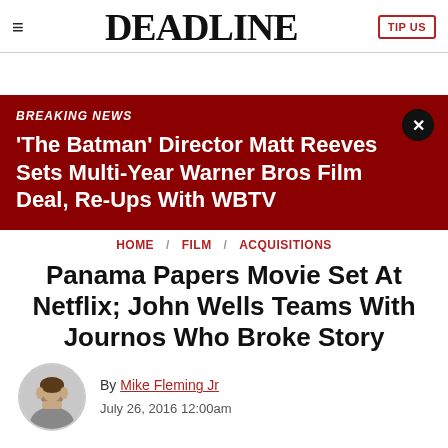≡  DEADLINE  TIP US
[Figure (infographic): Breaking news banner with dark red background. Label: BREAKING NEWS. Title: 'The Batman' Director Matt Reeves Sets Multi-Year Warner Bros Film Deal, Re-Ups With WBTV. Close button (X) top right.]
HOME / FILM / ACQUISITIONS
Panama Papers Movie Set At Netflix; John Wells Teams With Journos Who Broke Story
By Mike Fleming Jr
July 26, 2016 12:00am